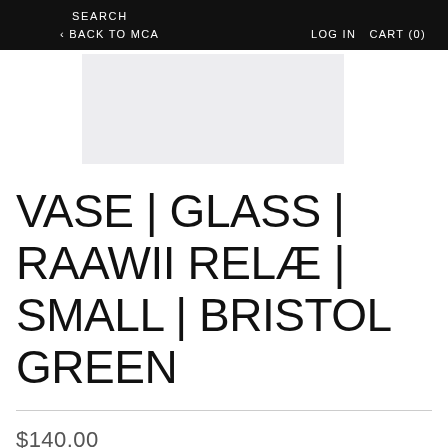SEARCH  < BACK TO MCA  LOG IN  CART (0)
[Figure (photo): Product image placeholder — light grey rectangle showing a glass vase]
VASE | GLASS | RAAWII RELÆ | SMALL | BRISTOL GREEN
$140.00